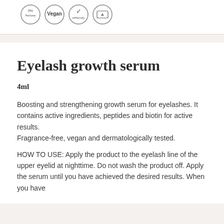[Figure (illustration): Four circular badge icons: 0% Perfume, Vegan, a checkmark/approval seal, and a dermatologist-tested symbol]
Eyelash growth serum
4ml
Boosting and strengthening growth serum for eyelashes. It contains active ingredients, peptides and biotin for active results.
Fragrance-free, vegan and dermatologically tested.
HOW TO USE: Apply the product to the eyelash line of the upper eyelid at nighttime. Do not wash the product off. Apply the serum until you have achieved the desired results. When you have